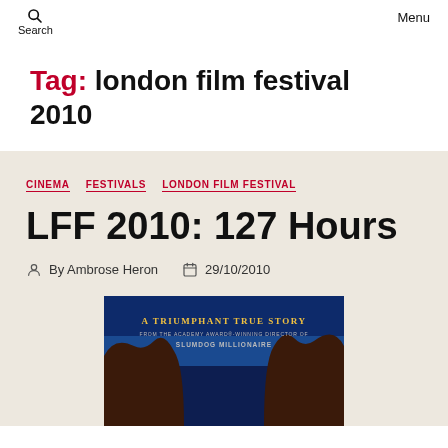Search  Menu
Tag: london film festival 2010
CINEMA  FESTIVALS  LONDON FILM FESTIVAL
LFF 2010: 127 Hours
By Ambrose Heron  29/10/2010
[Figure (photo): Movie poster for 127 Hours showing canyon rock silhouettes against a blue sky. Text reads: A TRIUMPHANT TRUE STORY / FROM THE ACADEMY AWARD-WINNING DIRECTOR OF / SLUMDOG MILLIONAIRE]